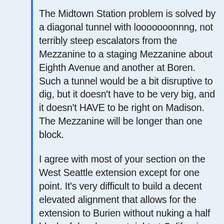The Midtown Station problem is solved by a diagonal tunnel with looooooonnng, not terribly steep escalators from the Mezzanine to a staging Mezzanine about Eighth Avenue and another at Boren. Such a tunnel would be a bit disruptive to dig, but it doesn't have to be very big, and it doesn't HAVE to be right on Madison. The Mezzanine will be longer than one block.
I agree with most of your section on the West Seattle extension except for one point. It's very difficult to build a decent elevated alignment that allows for the extension to Burien without nuking a half block of development right at California and Alaska. A tunnel allows a curve before the station the sets up a southward extension.